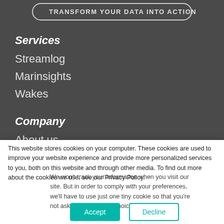[Figure (screenshot): CTA button with text TRANSFORM YOUR DATA INTO ACTION on dark background]
Services
Streamlog
Marinsights
Wakes
Company
About us
This website stores cookies on your computer. These cookies are used to improve your website experience and provide more personalized services to you, both on this website and through other media. To find out more about the cookies we use, see our Privacy Policy.
We won't track your information when you visit our site. But in order to comply with your preferences, we'll have to use just one tiny cookie so that you're not asked to make this choice again.